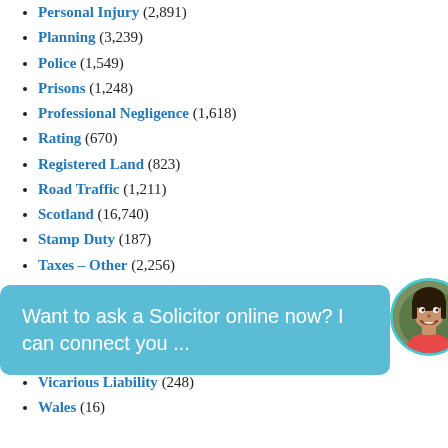Personal Injury (2,891)
Planning (3,239)
Police (1,549)
Prisons (1,248)
Professional Negligence (1,618)
Rating (670)
Registered Land (823)
Road Traffic (1,211)
Scotland (16,740)
Stamp Duty (187)
Taxes – Other (2,256)
Taxes Management (1,381)
Torts – Other (2,752)
Transport (2,040)
Trusts (1,473)
[Figure (photo): Chat widget overlay with text 'Want to ask a Solicitor online now? I can connect you ...' on teal background, with circular avatar photo of a smiling woman]
Vicarious Liability (248)
Wales (16)